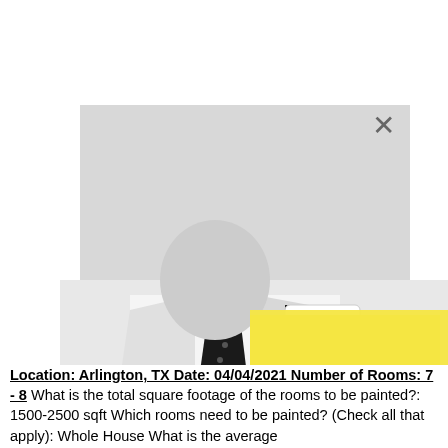to major stresses that include rain, snow, UV rays, and physical wear. All of that is compounded by the sheer difficulty, cost, and extended timeline for painting a home's exterior, making the question of the perfect exterior paint finish a critical one. Licensed, certified, insured, bonded, and working at reasonable rates, Snug Harbor Service has been in business since 2016 and is accredited by the Better Business Bureau. We also provide free estimates on our labor and discounts to new customers, senior citizens, disabled people, and veterans. We want to be your residential and commercial painting company! We will...
The n...ry. Once...process...set button...e made...ng the Re...at which...can also share it on social media sites. Aurora Home Painter Location: Arlington, TX Date: 04/04/2021 Number of Rooms: 7 - 8 What is the total square footage of the rooms to be painted?: 1500-2500 sqft Which rooms need to be painted? (Check all that apply): Whole House What is the average
[Figure (photo): Black and white photo of a man in a white dress shirt with polka dot tie, partially obscured by a yellow triangle graphic overlay and a gray modal overlay. An 'Ambassador Painting' logo is visible on the shirt.]